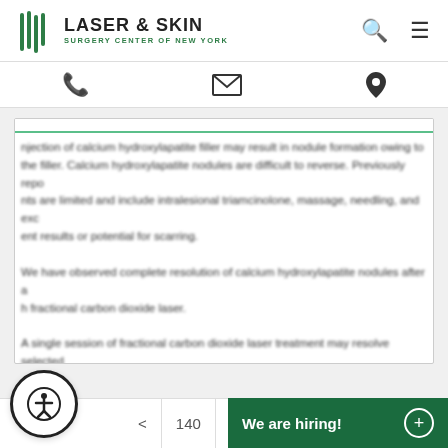[Figure (logo): Laser & Skin Surgery Center of New York logo with green striped icon and text]
[Figure (infographic): Navigation icons bar with phone, email/envelope, and location pin icons]
njection of calcium hydroxylapatite filler may result in nodule formation owing to the filler. Calcium hydroxylapatite nodules are difficult to reverse. Previously reported treatments are limited and include intralesional triamcinolone, massage, needling, and excision with poor results or potential for scarring.
We have observed complete resolution of calcium hydroxylapatite nodules after a single treatment with fractional carbon dioxide laser.
A single session of fractional carbon dioxide laser treatment may resolve selected
New Publications from the Physicians at our Center
< 140 141 142